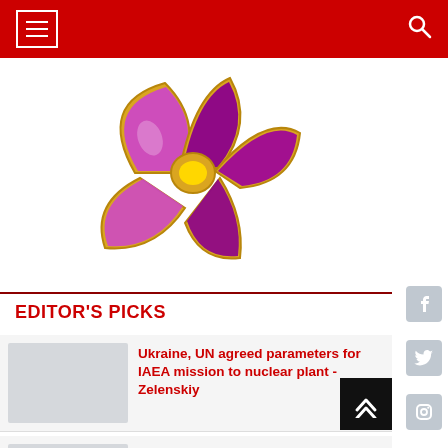Navigation menu and search
[Figure (illustration): Purple and gold decorative flower/butterfly ornament on white background]
EDITOR'S PICKS
Ukraine, UN agreed parameters for IAEA mission to nuclear plant - Zelenskiy
Reason for the recent tension is Armenia's failure to fulfill its obligations: Azerbaijan's FM